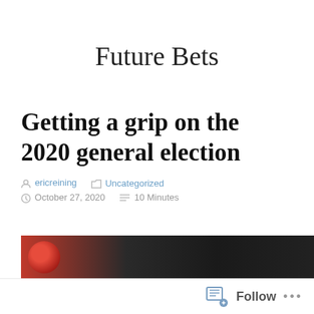Future Bets
Getting a grip on the 2020 general election
ericreining   Uncategorized   October 27, 2020   10 Minutes
[Figure (photo): Partial image strip showing a dark/red scene at the bottom of the page]
Follow   ...